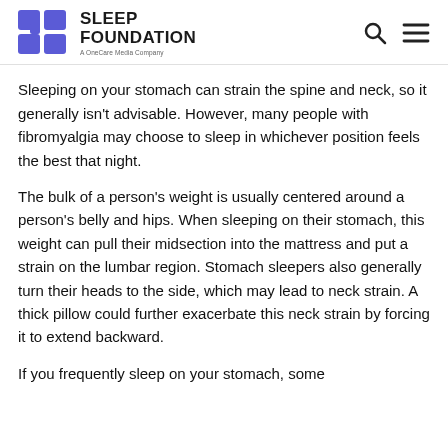SLEEP FOUNDATION — A OneCare Media Company
Sleeping on your stomach can strain the spine and neck, so it generally isn't advisable. However, many people with fibromyalgia may choose to sleep in whichever position feels the best that night.
The bulk of a person's weight is usually centered around a person's belly and hips. When sleeping on their stomach, this weight can pull their midsection into the mattress and put a strain on the lumbar region. Stomach sleepers also generally turn their heads to the side, which may lead to neck strain. A thick pillow could further exacerbate this neck strain by forcing it to extend backward.
If you frequently sleep on your stomach, some